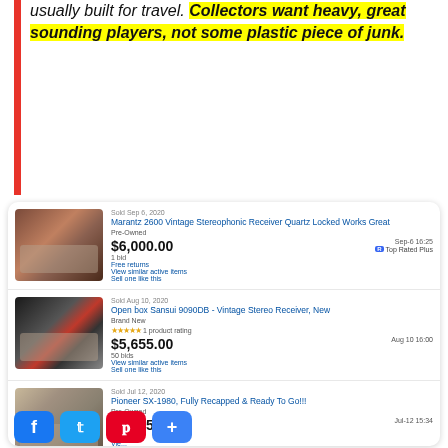usually built for travel. Collectors want heavy, great sounding players, not some plastic piece of junk.
[Figure (screenshot): eBay sold listings showing vintage stereo receivers: Marantz 2600 ($6,000.00), Open box Sansui 9090DB ($5,655.00), Pioneer SX-1980 ($5,475.00)]